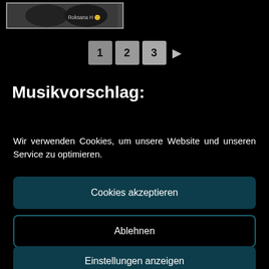[Figure (photo): A photo strip showing two people, with text 'Roksana H' visible on the right side]
1  2  3  ▶
Musikvorschlag:
Wir verwenden Cookies, um unsere Website und unseren Service zu optimieren.
Cookies akzeptieren
Ablehnen
Einstellungen anzeigen